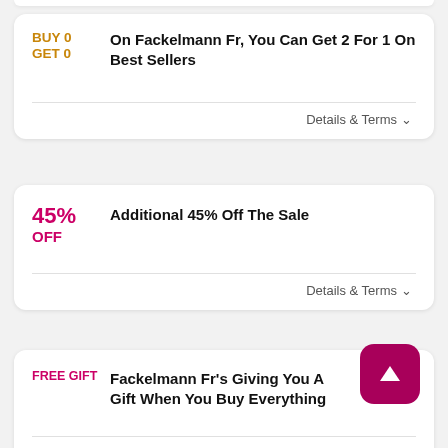BUY 0 GET 0
On Fackelmann Fr, You Can Get 2 For 1 On Best Sellers
Details & Terms
45% OFF
Additional 45% Off The Sale
Details & Terms
FREE GIFT
Fackelmann Fr's Giving You A Gift When You Buy Everything
Details & Terms